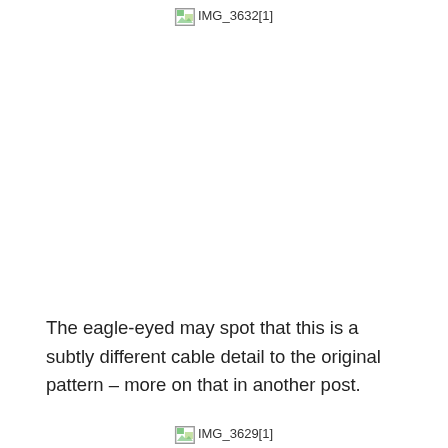[Figure (photo): Broken/missing image placeholder labeled IMG_3632[1] at top center of page]
The eagle-eyed may spot that this is a subtly different cable detail to the original pattern – more on that in another post.
[Figure (photo): Broken/missing image placeholder labeled IMG_3629[1] at bottom center of page]